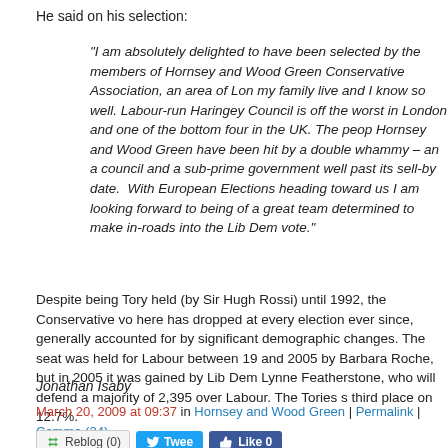He said on his selection:
“I am absolutely delighted to have been selected by the members of Hornsey and Wood Green Conservative Association, an area of London my family live and I know so well. Labour-run Haringey Council is officially the worst in London and one of the bottom four in the UK. The people of Hornsey and Wood Green have been hit by a double whammy – an awful council and a sub-prime government well past its sell-by date.  With the European Elections heading toward us I am looking forward to being part of a great team determined to make in-roads into the Lib Dem vote.”
Despite being Tory held (by Sir Hugh Rossi) until 1992, the Conservative vote here has dropped at every election ever since, generally accounted for by significant demographic changes. The seat was held for Labour between 1992 and 2005 by Barbara Roche, but in 2005 it was gained by Lib Dem Lynne Featherstone, who will defend a majority of 2,395 over Labour. The Tories s third place on 12.7%.
Jonathan Isaby
March 20, 2009 at 09:37 in Hornsey and Wood Green | Permalink | Commen (24)